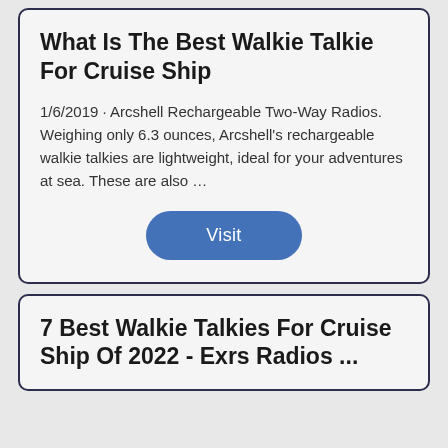What Is The Best Walkie Talkie For Cruise Ship
1/6/2019  · Arcshell Rechargeable Two-Way Radios. Weighing only 6.3 ounces, Arcshell's rechargeable walkie talkies are lightweight, ideal for your adventures at sea. These are also …
Visit
7 Best Walkie Talkies For Cruise Ship Of 2022 - Exrs Radios ...